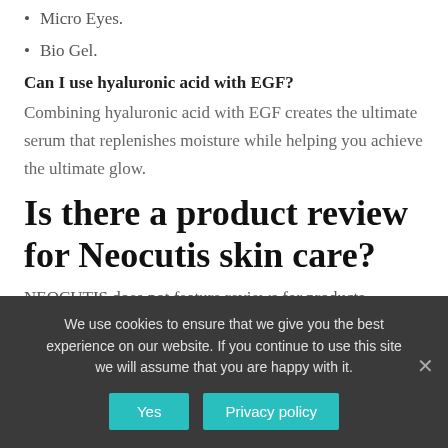Micro Eyes.
Bio Gel.
Can I use hyaluronic acid with EGF?
Combining hyaluronic acid with EGF creates the ultimate serum that replenishes moisture while helping you achieve the ultimate glow.
Is there a product review for Neocutis skin care?
NEOCUTIS does not feature reviews for products
We use cookies to ensure that we give you the best experience on our website. If you continue to use this site we will assume that you are happy with it.